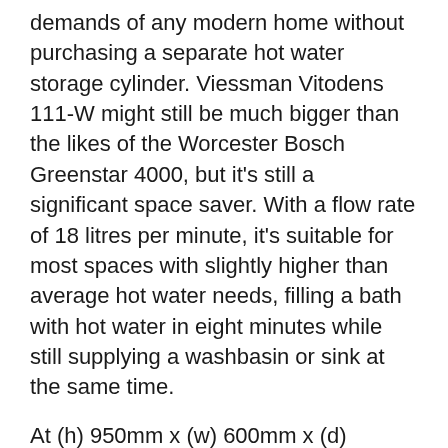demands of any modern home without purchasing a separate hot water storage cylinder. Viessman Vitodens 111-W might still be much bigger than the likes of the Worcester Bosch Greenstar 4000, but it's still a significant space saver. With a flow rate of 18 litres per minute, it's suitable for most spaces with slightly higher than average hot water needs, filling a bath with hot water in eight minutes while still supplying a washbasin or sink at the same time.
At (h) 950mm x (w) 600mm x (d) 500mm , it's not quite compact, but it's still small enough to fit unobtrusively in a cupboard or storage space. The Viessman Vitodens 111-W has extremely positive reviews on the likes of Trustpilot and other consumer review sites, with an average rating of 4.5 / 5 stars.
The Viessman Vitodens 111-W is available in